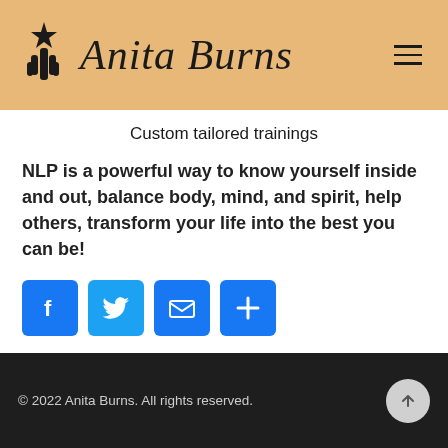Anita Burns
Custom tailored trainings
NLP is a powerful way to know yourself inside and out, balance body, mind, and spirit, help others, transform your life into the best you can be!
[Figure (infographic): Row of four social share icon buttons: Facebook (blue f icon), Twitter (blue bird icon), Email (blue envelope icon), Share/Add (blue plus icon)]
© 2022 Anita Burns. All rights reserved.